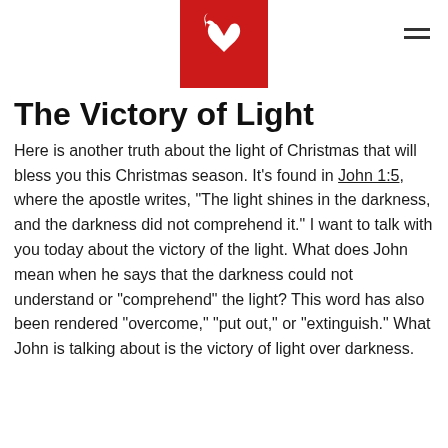[Logo: red square with white heart/flame icon] [Hamburger menu icon]
The Victory of Light
Here is another truth about the light of Christmas that will bless you this Christmas season. It's found in John 1:5, where the apostle writes, “The light shines in the darkness, and the darkness did not comprehend it.” I want to talk with you today about the victory of the light. What does John mean when he says that the darkness could not understand or “comprehend” the light? This word has also been rendered “overcome,” “put out,” or “extinguish.” What John is talking about is the victory of light over darkness.